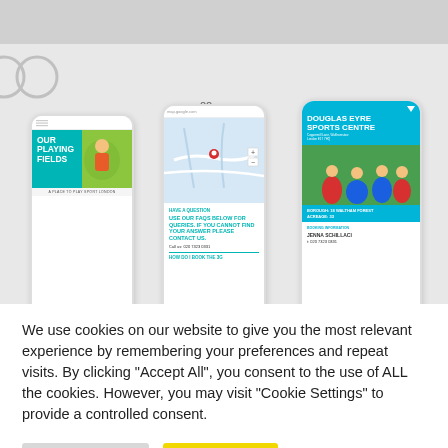[Figure (screenshot): Three mobile phone screenshot mockups showing a sports-related website: left phone shows 'OUR PLAYING FIELDS' page in teal/green, center phone shows a map and FAQ section, right phone shows 'DOUGLAS EYRE SPORTS CENTRE' page in cyan/blue with football image]
We use cookies on our website to give you the most relevant experience by remembering your preferences and repeat visits. By clicking "Accept All", you consent to the use of ALL the cookies. However, you may visit "Cookie Settings" to provide a controlled consent.
Cookie Settings
Accept All